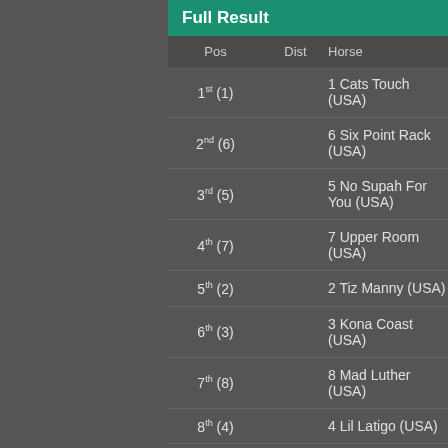Full Result
| Pos | Dist | Horse |
| --- | --- | --- |
| 1st (1) |  | 1 Cats Touch (USA) |
| 2nd (6) |  | 6 Six Point Rack (USA) |
| 3rd (5) |  | 5 No Supah For You (USA) |
| 4th (7) |  | 7 Upper Room (USA) |
| 5th (2) |  | 2 Tiz Manny (USA) |
| 6th (3) |  | 3 Kona Coast (USA) |
| 7th (8) |  | 8 Mad Luther (USA) |
| 8th (4) |  | 4 Lil Latigo (USA) |
Betting Breakdown
Tote Win $2.70 Tote Place $1.90 (1), $3.20 (6) Straight For...